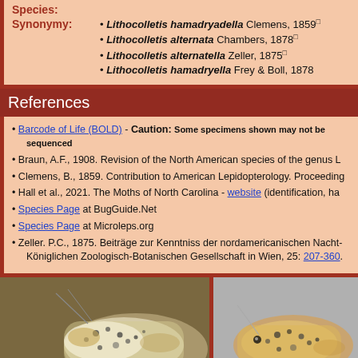Species:
Lithocolletis hamadryadella Clemens, 1859
Lithocolletis alternata Chambers, 1878
Lithocolletis alternatella Zeller, 1875
Lithocolletis hamadryella Frey & Boll, 1878
References
Barcode of Life (BOLD) - Caution: Some specimens shown may not be sequenced
Braun, A.F., 1908. Revision of the North American species of the genus L
Clemens, B., 1859. Contribution to American Lepidopterology. Proceeding
Hall et al., 2021. The Moths of North Carolina - website (identification, ha
Species Page at BugGuide.Net
Species Page at Microleps.org
Zeller. P.C., 1875. Beiträge zur Kenntniss der nordamericanischen Nacht- Königlichen Zoologisch-Botanischen Gesellschaft in Wien, 25: 207-360.
[Figure (photo): Close-up photo of a small moth (Phyllonorycter species) on a surface, showing speckled white and brown wing pattern]
[Figure (photo): Close-up photo of a second small moth specimen from side angle on grey background, showing orange-brown and white spotted wing pattern]